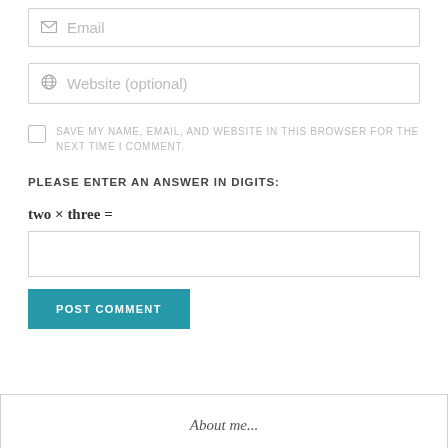[Figure (screenshot): Email input field with envelope icon and placeholder text 'Email']
[Figure (screenshot): Website input field with globe icon and placeholder text 'Website (optional)']
SAVE MY NAME, EMAIL, AND WEBSITE IN THIS BROWSER FOR THE NEXT TIME I COMMENT.
PLEASE ENTER AN ANSWER IN DIGITS:
[Figure (screenshot): Empty text input box for answer]
[Figure (screenshot): Teal 'POST COMMENT' button]
[Figure (screenshot): About me box at bottom with italic text 'About me...']